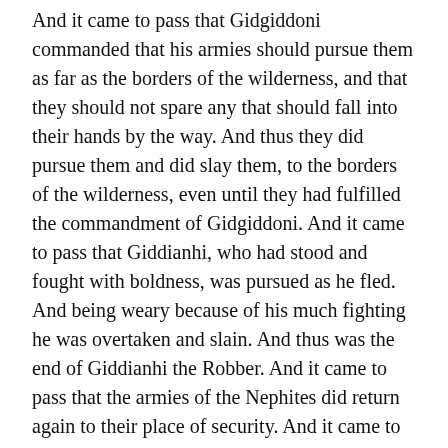And it came to pass that Gidgiddoni commanded that his armies should pursue them as far as the borders of the wilderness, and that they should not spare any that should fall into their hands by the way. And thus they did pursue them and did slay them, to the borders of the wilderness, even until they had fulfilled the commandment of Gidgiddoni. And it came to pass that Giddianhi, who had stood and fought with boldness, was pursued as he fled. And being weary because of his much fighting he was overtaken and slain. And thus was the end of Giddianhi the Robber. And it came to pass that the armies of the Nephites did return again to their place of security. And it came to pass that this nineteenth year did pass away, and the robbers did not come again to battle. Neither did they come again in the twentieth year.
And in the twenty and first year they did not come up to battle, but they came up on all sides to lay siege round